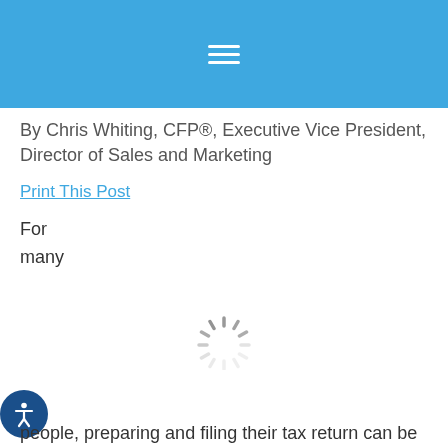navigation menu bar
By Chris Whiting, CFP®, Executive Vice President, Director of Sales and Marketing
Print This Post
For
many
[Figure (other): Loading spinner animation]
people, preparing and filing their tax return can be